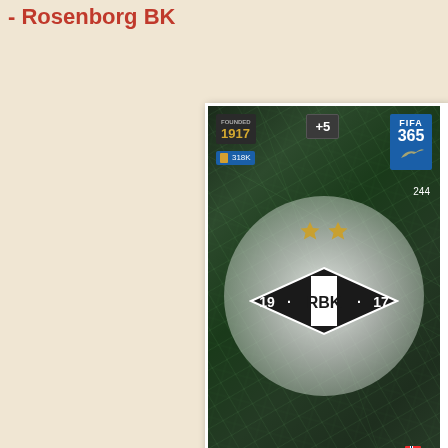- Rosenborg BK
[Figure (photo): FIFA 365 trading card featuring Rosenborg BK club badge. Dark holographic background with geometric diamond pattern. Shows year 1917, +5 rating, FIFA 365 branding, card number 244, fan count 318K, two gold stars, the RBK diamond logo with text '19 · RBK · 17', FANS label at bottom left, ROSENBORG BK and CLUB BADGE text rotated vertically at bottom right.]